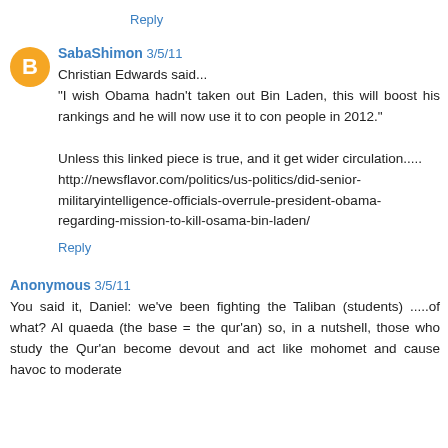Reply
SabaShimon 3/5/11
Christian Edwards said...
"I wish Obama hadn't taken out Bin Laden, this will boost his rankings and he will now use it to con people in 2012."

Unless this linked piece is true, and it get wider circulation.....
http://newsflavor.com/politics/us-politics/did-senior-militaryintelligence-officials-overrule-president-obama-regarding-mission-to-kill-osama-bin-laden/
Reply
Anonymous 3/5/11
You said it, Daniel: we've been fighting the Taliban (students) .....of what? Al quaeda (the base = the qur'an) so, in a nutshell, those who study the Qur'an become devout and act like mohomet and cause havoc to moderate